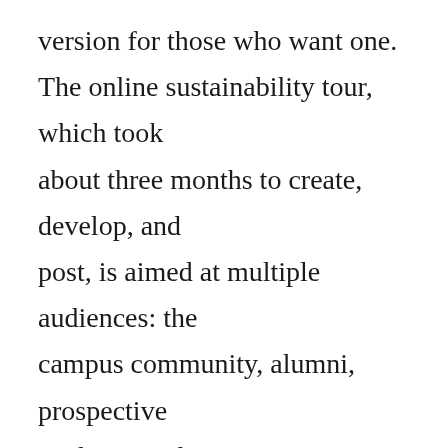version for those who want one. The online sustainability tour, which took about three months to create, develop, and post, is aimed at multiple audiences: the campus community, alumni, prospective students, and community members. “This sustainability tour will be invaluable in communicating to everyone on how the broader college community is contributing to campus sustainability. I learned a lot from going through the tour myself,” Fabbe, elt said